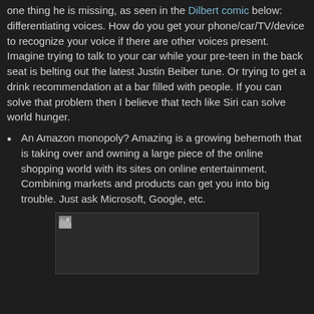one thing he is missing, as seen in the Dilbert comic below: differentiating voices. How do you get your phone/car/TV/device to recognize your voice if there are other voices present. Imagine trying to talk to your car while your pre-teen in the back seat is belting out the latest Justin Beiber tune. Or trying to get a drink recommendation at a bar filled with people. If you can solve that problem then I believe that tech like Siri can solve world hunger.
An Amazon monopoly? Amazing is a growing behemoth that is taking over and owning a large piece of the online shopping world with its sites on online entertainment. Combining markets and products can get you into big trouble. Just ask Microsoft, Google, etc.
[Figure (photo): Broken/missing image placeholder (Dilbert comic image that failed to load)]